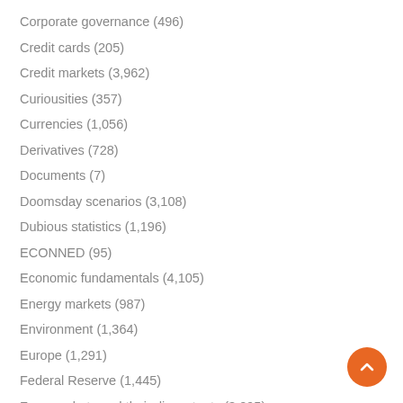Corporate governance (496)
Credit cards (205)
Credit markets (3,962)
Curiousities (357)
Currencies (1,056)
Derivatives (728)
Documents (7)
Doomsday scenarios (3,108)
Dubious statistics (1,196)
ECONNED (95)
Economic fundamentals (4,105)
Energy markets (987)
Environment (1,364)
Europe (1,291)
Federal Reserve (1,445)
Free markets and their discontents (3,095)
Garrulous insolence (192)